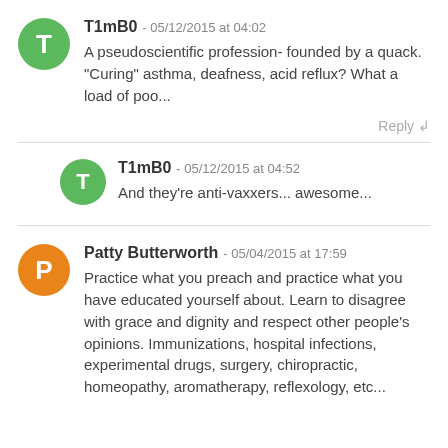T1mB0 - 05/12/2015 at 04:02
A pseudoscientific profession- founded by a quack. "Curing" asthma, deafness, acid reflux? What a load of poo...
Reply
T1mB0 - 05/12/2015 at 04:52
And they're anti-vaxxers... awesome...
Patty Butterworth - 05/04/2015 at 17:59
Practice what you preach and practice what you have educated yourself about. Learn to disagree with grace and dignity and respect other people's opinions. Immunizations, hospital infections, experimental drugs, surgery, chiropractic, homeopathy, aromatherapy, reflexology, etc...